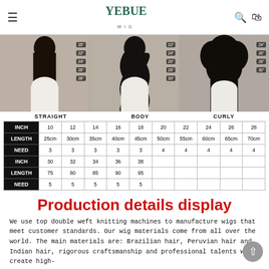YEBUE WIG
[Figure (photo): Three women showing hair lengths: Straight (20"-28"), Body wave (22"-30"), and Curly (24"-30")]
STRAIGHT   BODY   CURLY
| INCH | 10 | 12 | 14 | 16 | 18 | 20 | 22 | 24 | 26 | 28 |
| --- | --- | --- | --- | --- | --- | --- | --- | --- | --- | --- |
| LENGTH | 25cm | 30cm | 35cm | 40cm | 45cm | 50cm | 55cm | 60cm | 65cm | 70cm |
| NEED | 3 | 3 | 3 | 3 | 3 | 4 | 4 | 4 | 4 | 4 |
| INCH | 30 | 32 | 34 | 36 | 38 |  |  |  |  |  |
| LENGTH | 75 | 80 | 85 | 90 | 95 |  |  |  |  |  |
| NEED | 5 | 5 | 5 | 5 | 5 |  |  |  |  |  |
Production details display
We use top double weft knitting machines to manufacture wigs that meet customer standards. Our wig materials come from all over the world. The main materials are: Brazilian hair, Peruvian hair and Indian hair, rigorous craftsmanship and professional talents will create high-